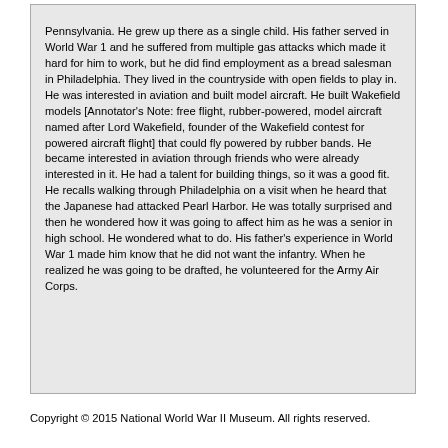Pennsylvania. He grew up there as a single child. His father served in World War 1 and he suffered from multiple gas attacks which made it hard for him to work, but he did find employment as a bread salesman in Philadelphia. They lived in the countryside with open fields to play in. He was interested in aviation and built model aircraft. He built Wakefield models [Annotator's Note: free flight, rubber-powered, model aircraft named after Lord Wakefield, founder of the Wakefield contest for powered aircraft flight] that could fly powered by rubber bands. He became interested in aviation through friends who were already interested in it. He had a talent for building things, so it was a good fit. He recalls walking through Philadelphia on a visit when he heard that the Japanese had attacked Pearl Harbor. He was totally surprised and then he wondered how it was going to affect him as he was a senior in high school. He wondered what to do. His father's experience in World War 1 made him know that he did not want the infantry. When he realized he was going to be drafted, he volunteered for the Army Air Corps.
Copyright © 2015 National World War II Museum. All rights reserved.